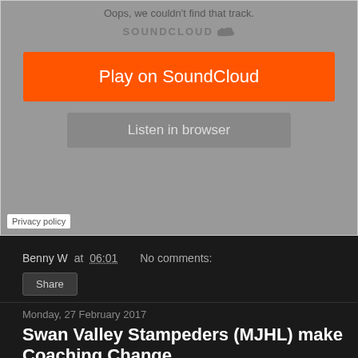[Figure (screenshot): SoundCloud embedded player showing error state with 'Oops, we couldn't find that track.' message, SOUNDCLOUD logo, orange 'Play on SoundCloud' button, grey 'Listen in browser' button, and 'Privacy policy' link at bottom left]
Benny W at 06:01   No comments:
Share
Monday, 27 February 2017
Swan Valley Stampeders (MJHL) make Coaching Change